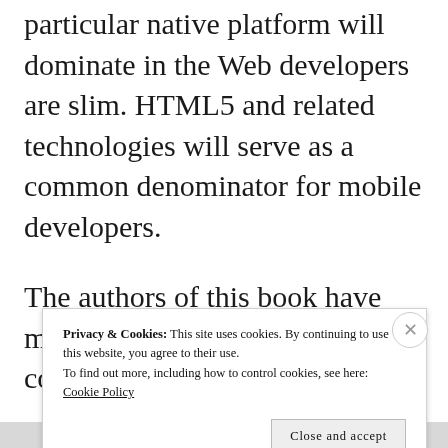particular native platform will dominate in the Web developers are slim. HTML5 and related technologies will serve as a common denominator for mobile developers.
The authors of this book have more than 100 years of combined
Privacy & Cookies: This site uses cookies. By continuing to use this website, you agree to their use.
To find out more, including how to control cookies, see here:
Cookie Policy
Close and accept